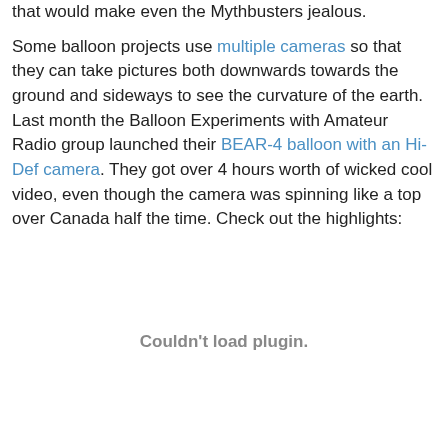that would make even the Mythbusters jealous.

Some balloon projects use multiple cameras so that they can take pictures both downwards towards the ground and sideways to see the curvature of the earth. Last month the Balloon Experiments with Amateur Radio group launched their BEAR-4 balloon with an Hi-Def camera. They got over 4 hours worth of wicked cool video, even though the camera was spinning like a top over Canada half the time. Check out the highlights:
[Figure (other): Embedded video plugin area showing 'Couldn't load plugin.' message]